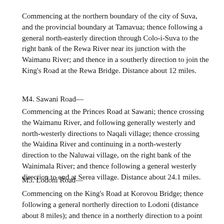Commencing at the northern boundary of the city of Suva, and the provincial boundary at Tamavua; thence following a general north-easterly direction through Colo-i-Suva to the right bank of the Rewa River near its junction with the Waimanu River; and thence in a southerly direction to join the King's Road at the Rewa Bridge. Distance about 12 miles.
M4. Sawani Road—
Commencing at the Princes Road at Sawani; thence crossing the Waimanu River, and following generally westerly and north-westerly directions to Naqali village; thence crossing the Waidina River and continuing in a north-westerly direction to the Naluwai village, on the right bank of the Wainimala River; and thence following a general westerly direction to end at Serea village. Distance about 24.1 miles.
M5. Lodoni Road—
Commencing on the King's Road at Korovou Bridge; thence following a general northerly direction to Lodoni (distance about 8 miles); and thence in a northerly direction to a point at